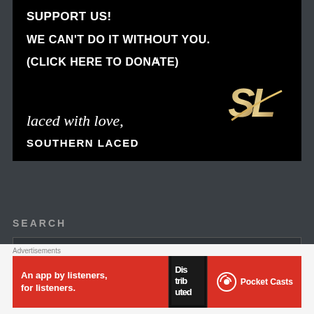SUPPORT US!
WE CAN'T DO IT WITHOUT YOU.
(CLICK HERE TO DONATE)
laced with love,
[Figure (logo): SL logo in gold and silver on black background]
SOUTHERN LACED
SEARCH
Search ...
Advertisements
[Figure (infographic): Pocket Casts advertisement banner: red background with phone image, text: An app by listeners, for listeners. Pocket Casts logo.]